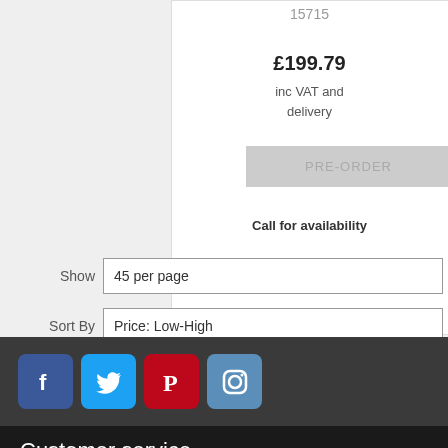15715
£199.79
inc VAT and delivery
PRE-ORDER
Call for availability
Show   45 per page
Sort By   Price: Low-High
[Figure (other): Social media icons: Facebook, Twitter, Pinterest, Instagram]
Customer service
Delivery information
Returns policy
Terms & conditions
Message